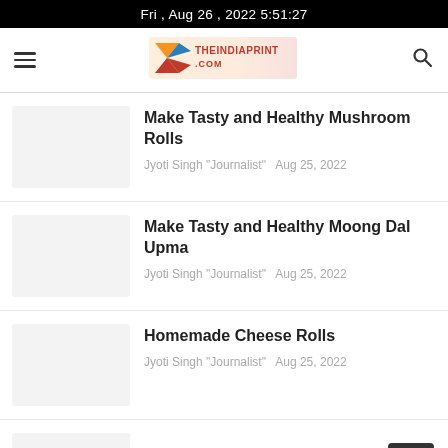Fri , Aug 26 , 2022 5:51:27
[Figure (logo): TheIndiaPrint.com logo with colorful diamond/arrow shapes in orange, red, and blue]
Make Tasty and Healthy Mushroom Rolls
Jyoti Singh "Journalist"  Aug 25, 2022
Make Tasty and Healthy Moong Dal Upma
Jyoti Singh "Journalist"  Aug 25, 2022
Homemade Cheese Rolls
Jyoti Singh "Journalist"  Aug 25, 2022